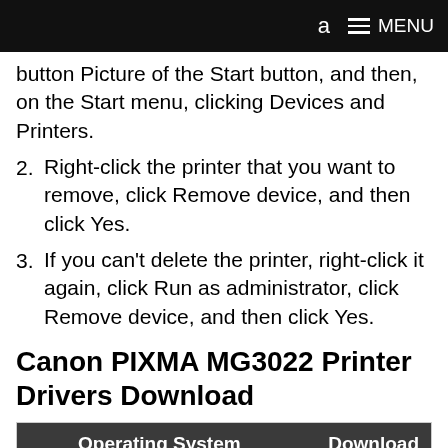a  ≡ MENU
button Picture of the Start button, and then, on the Start menu, clicking Devices and Printers.
2. Right-click the printer that you want to remove, click Remove device, and then click Yes.
3. If you can't delete the printer, right-click it again, click Run as administrator, click Remove device, and then click Yes.
Canon PIXMA MG3022 Printer Drivers Download
| Operating System | Download |
| --- | --- |
| Canon MG3022 Full Driver & Software Package – (Windows 10/8.1/8/7/Vista) (32/64-bit) | DOWNLOAD |